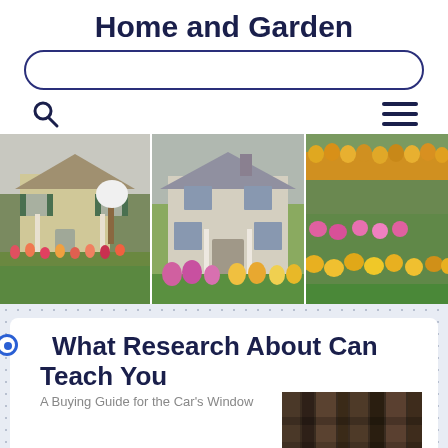Home and Garden
[Figure (screenshot): Search bar with rounded blue border]
[Figure (illustration): Search icon (magnifying glass) on left, hamburger menu icon on right]
[Figure (photo): Three photos side by side: a beige house with green shutters and blooming tulips, a two-story colonial house with colorful front garden, and a vibrant flower garden with yellow and pink blooms]
What Research About Can Teach You
A Buying Guide for the Car's Window